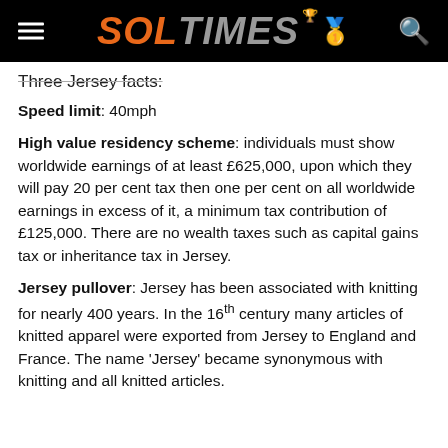SOL TIMES
Three Jersey facts:
Speed limit: 40mph
High value residency scheme: individuals must show worldwide earnings of at least £625,000, upon which they will pay 20 per cent tax then one per cent on all worldwide earnings in excess of it, a minimum tax contribution of £125,000. There are no wealth taxes such as capital gains tax or inheritance tax in Jersey.
Jersey pullover: Jersey has been associated with knitting for nearly 400 years. In the 16th century many articles of knitted apparel were exported from Jersey to England and France. The name 'Jersey' became synonymous with knitting and all knitted articles.